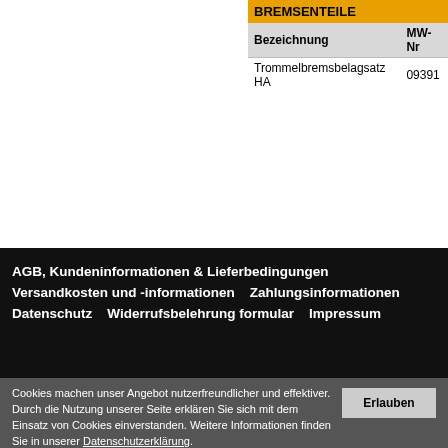| Bezeichnung | MW-Nr |
| --- | --- |
| Trommelbremsbelagsatz HA | 09391 |
AGB, Kundeninformationen & Lieferbedingungen   Versandkosten und -informationen   Zahlungsinformationen   Datenschutz   Widerrufsbelehrung formular   Impressum
Cookies machen unser Angebot nutzerfreundlicher und effektiver. Durch die Nutzung unserer Seite erklären Sie sich mit dem Einsatz von Cookies einverstanden. Weitere Informationen finden Sie in unserer Datenschutzerklärung.